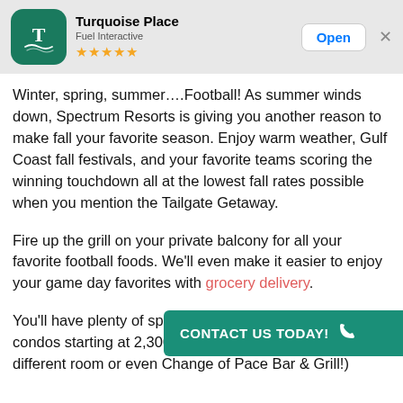[Figure (screenshot): App store listing header with Turquoise Place app icon (teal background with T logo), app name 'Turquoise Place', developer 'Fuel Interactive', 5 star rating, Open button, and X close button]
Winter, spring, summer….Football! As summer winds down, Spectrum Resorts is giving you another reason to make fall your favorite season. Enjoy warm weather, Gulf Coast fall festivals, and your favorite teams scoring the winning touchdown all at the lowest fall rates possible when you mention the Tailgate Getaway.
Fire up the grill on your private balcony for all your favorite football foods. We'll even make it easier to enjoy your game day favorites with grocery delivery.
You'll have plenty of space to spread out in oversized condos starting at 2,300 the losing fans have plenty of room to retreat to a different room or even Change of Pace Bar & Grill!)